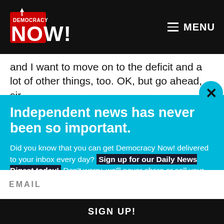Democracy Now! — MENU
and I want to move on to the deficit and a lot of other things, too. OK, but go ahead, sir.
Independent news has never been so important.
Did you know that you can get Democracy Now! delivered to your inbox every day? Sign up for our Daily News Digest today! Don't worry, we'll never share or sell your information.
EMAIL
SIGN UP!